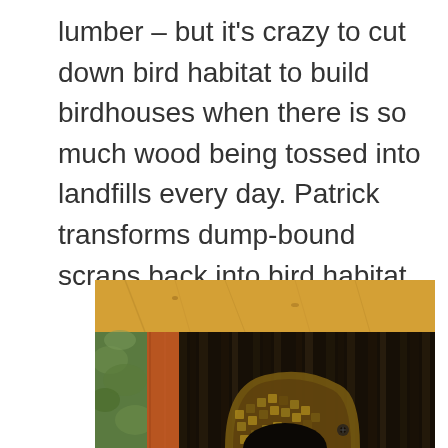lumber – but it's crazy to cut down bird habitat to build birdhouses when there is so much wood being tossed into landfills every day. Patrick transforms dump-bound scraps back into bird habitat.
[Figure (photo): Close-up photograph of a wooden birdhouse with warm orange/amber stained wood frame and dark cedar shake or brushy interior. A decorative wooden arch or perch piece with a mosaic or patterned surface is visible inside the circular entry hole of the birdhouse. Green foliage is faintly visible in the background.]